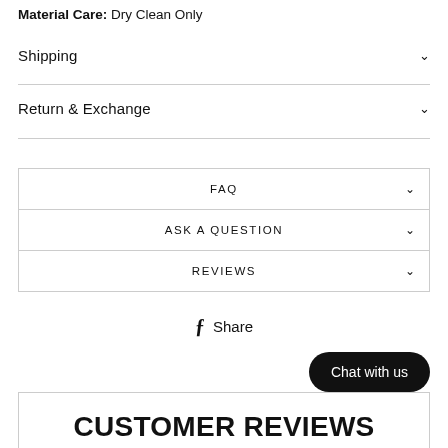Material Care: Dry Clean Only
Shipping
Return & Exchange
FAQ
ASK A QUESTION
REVIEWS
Share
Chat with us
CUSTOMER REVIEWS